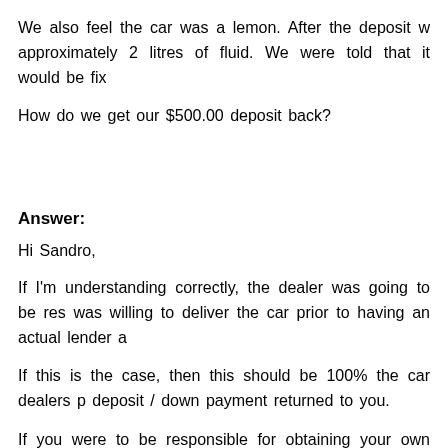We also feel the car was a lemon. After the deposit w approximately 2 litres of fluid. We were told that it would be fix
How do we get our $500.00 deposit back?
Answer:
Hi Sandro,
If I'm understanding correctly, the dealer was going to be res was willing to deliver the car prior to having an actual lender a
If this is the case, then this should be 100% the car dealers p deposit / down payment returned to you.
If you were to be responsible for obtaining your own financin you pay for rental fees and a "restocking" fee to detail the car
Most dealers will not do this (charge a restocking fee) being